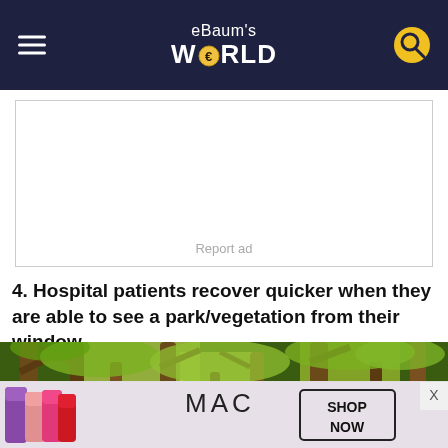eBaum's World
[Figure (screenshot): Advertisement placeholder box with 'Report ad' label]
4. Hospital patients recover quicker when they are able to see a park/vegetation from their window
[Figure (photo): Photo of tall trees with green foliage viewed from below, in a park/forest setting]
[Figure (screenshot): MAC cosmetics advertisement banner showing lipsticks and SHOP NOW text]